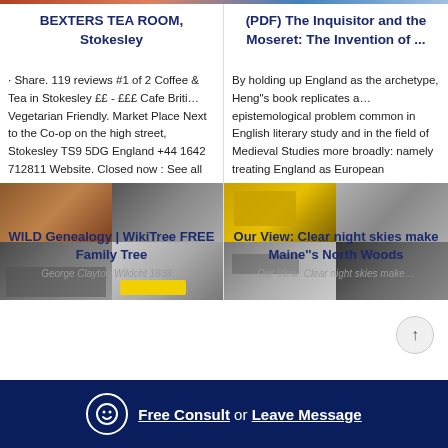BEXTERS TEA ROOM, Stokesley
· Share. 119 reviews #1 of 2 Coffee & Tea in Stokesley ££ - £££ Cafe Briti… Vegetarian Friendly. Market Place Next to the Co-op on the high street, Stokesley TS9 5DG England +44 1642 712811 Website. Closed now : See all
[Figure (photo): Four photos of mining/quarry equipment and machinery]
(PDF) The Inquisitor and the Moseret: The Invention of ...
By holding up England as the archetype, Heng"s book replicates a… epistemological problem common in English literary study and in the field of Medieval Studies more broadly: namely treating England as European
[Figure (photo): Four photos of mining/quarry equipment and machinery]
WILD Genealogy | WikiTree FREE Family Tree
George Clayton Wildcht 1838…
Our View: Clear night skies make Maine''s North Woods
Our View: Clear night skies make…
Free Consult or Leave Message